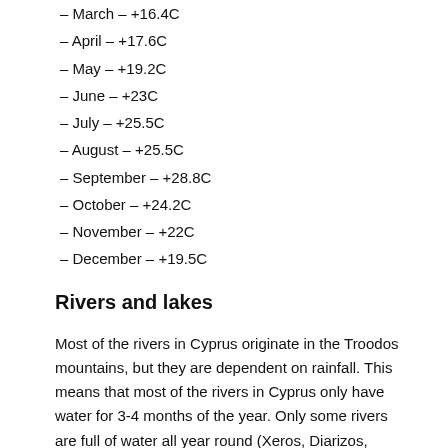– March – +16.4C
– April – +17.6C
– May – +19.2C
– June – +23C
– July – +25.5C
– August – +25.5C
– September – +28.8C
– October – +24.2C
– November – +22C
– December – +19.5C
Rivers and lakes
Most of the rivers in Cyprus originate in the Troodos mountains, but they are dependent on rainfall. This means that most of the rivers in Cyprus only have water for 3-4 months of the year. Only some rivers are full of water all year round (Xeros, Diarizos, Kargotis, Marathasa, Kouris and Germasogeia).